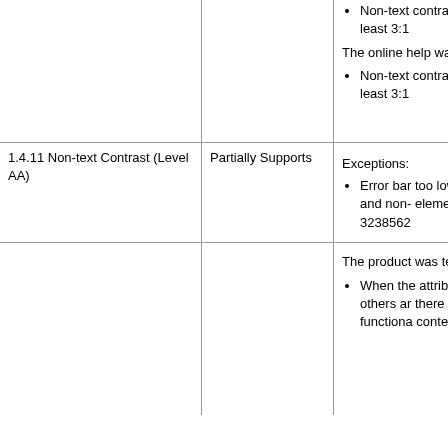| Criteria | Conformance Level | Remarks and Explanations |
| --- | --- | --- |
| 1.4.11 Non-text Contrast (Level AA) | Partially Supports | The online help was...
• Non-text contrast r... least 3:1
Exceptions:
• Error bar... too low fo... and non-... elements... 3238562 |
|  |  | The product was tes...
• When the attributes... others ar... there is n... functiona... content: |